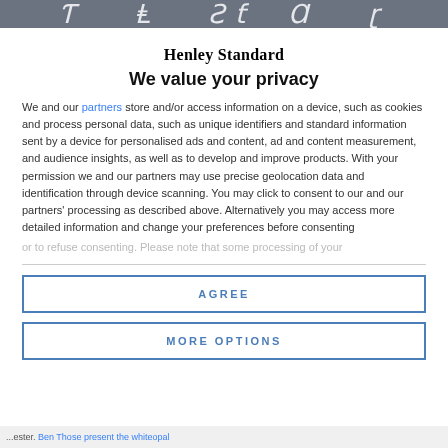Henley Standard (decorative masthead bar)
Henley Standard
We value your privacy
We and our partners store and/or access information on a device, such as cookies and process personal data, such as unique identifiers and standard information sent by a device for personalised ads and content, ad and content measurement, and audience insights, as well as to develop and improve products. With your permission we and our partners may use precise geolocation data and identification through device scanning. You may click to consent to our and our partners' processing as described above. Alternatively you may access more detailed information and change your preferences before consenting or to refuse consenting. Please note that some processing of your...
AGREE
MORE OPTIONS
...ester. Ben Those present the whiteopal...